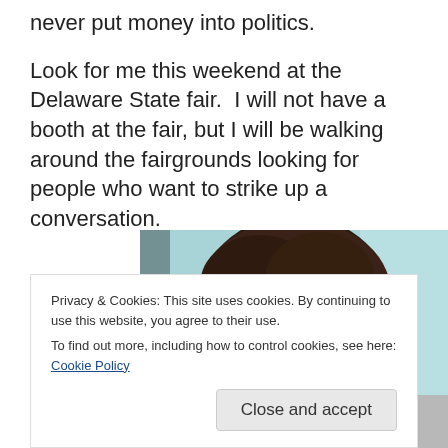never put money into politics.
Look for me this weekend at the Delaware State fair.  I will not have a booth at the fair, but I will be walking around the fairgrounds looking for people who want to strike up a conversation.
[Figure (photo): Close-up photo of a person's face with dark hair and glasses, light blue background, slightly blurry/grainy image.]
Privacy & Cookies: This site uses cookies. By continuing to use this website, you agree to their use.
To find out more, including how to control cookies, see here: Cookie Policy
Close and accept